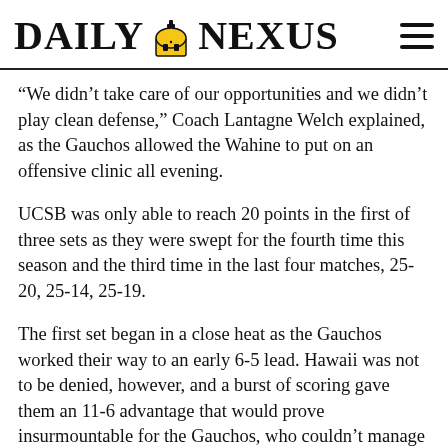DAILY NEXUS
“We didn’t take care of our opportunities and we didn’t play clean defense,” Coach Lantagne Welch explained, as the Gauchos allowed the Wahine to put on an offensive clinic all evening.
UCSB was only able to reach 20 points in the first of three sets as they were swept for the fourth time this season and the third time in the last four matches, 25-20, 25-14, 25-19.
The first set began in a close heat as the Gauchos worked their way to an early 6-5 lead. Hawaii was not to be denied, however, and a burst of scoring gave them an 11-6 advantage that would prove insurmountable for the Gauchos, who couldn’t manage to cut the deficit under three for the remainder of the game.